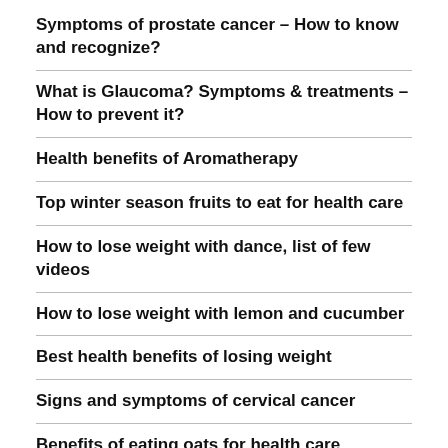Symptoms of prostate cancer – How to know and recognize?
What is Glaucoma? Symptoms & treatments – How to prevent it?
Health benefits of Aromatherapy
Top winter season fruits to eat for health care
How to lose weight with dance, list of few videos
How to lose weight with lemon and cucumber
Best health benefits of losing weight
Signs and symptoms of cervical cancer
Benefits of eating oats for health care